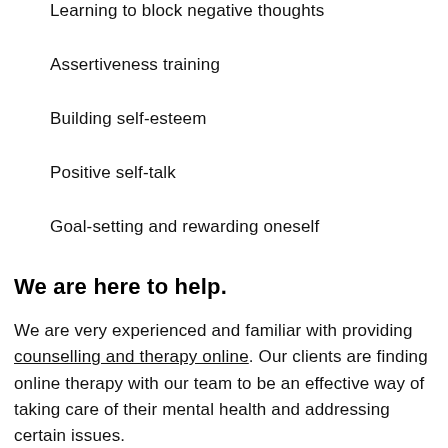Learning to block negative thoughts
Assertiveness training
Building self-esteem
Positive self-talk
Goal-setting and rewarding oneself
We are here to help.
We are very experienced and familiar with providing counselling and therapy online. Our clients are finding online therapy with our team to be an effective way of taking care of their mental health and addressing certain issues.